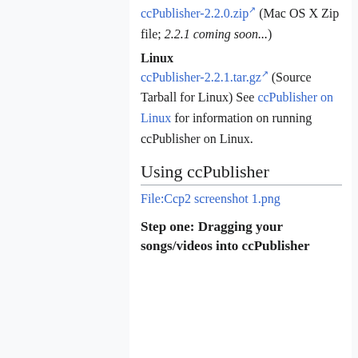ccPublisher-2.2.0.zip (Mac OS X Zip file; 2.2.1 coming soon...)
Linux
ccPublisher-2.2.1.tar.gz (Source Tarball for Linux) See ccPublisher on Linux for information on running ccPublisher on Linux.
Using ccPublisher
File:Ccp2 screenshot 1.png
Step one: Dragging your songs/videos into ccPublisher